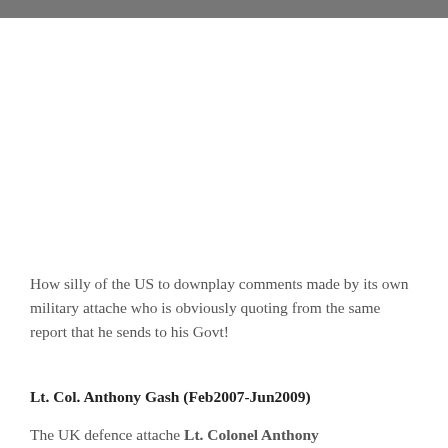How silly of the US to downplay comments made by its own military attache who is obviously quoting from the same report that he sends to his Govt!
Lt. Col. Anthony Gash (Feb2007-Jun2009)
The UK defence attache Lt. Colonel Anthony